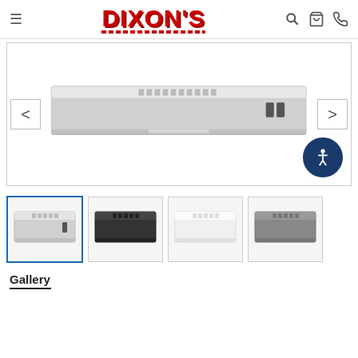Dixon's - navigation header with hamburger menu, Dixon's logo, search, cart, and phone icons
[Figure (photo): Main product image of a stainless steel under-cabinet range hood, shown from the front, with left and right navigation arrows and an accessibility button in the bottom right corner]
[Figure (photo): Thumbnail gallery showing 4 color variants of the range hood: stainless steel (selected, blue border), black, white, and slate/fingerprint resistant]
Gallery